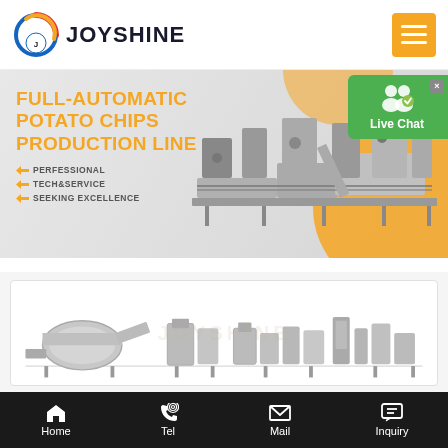[Figure (logo): Joyshine company logo with colorful arc icon and bold text]
[Figure (screenshot): Orange menu/hamburger button in top right corner]
[Figure (photo): Banner showing Full-Automatic Potato Chips Production Line with machinery image, orange circles, and bullet points: PERFESSIONAL, TECH&SERVICE, SEEKING EXCELLENCE]
[Figure (photo): Live Chat green popup widget with user icons]
[Figure (photo): Product card showing industrial food processing machinery lineup with Joyshine watermark]
[Figure (screenshot): Bottom navigation bar with Home, Tel, Mail, Inquiry icons on black background]